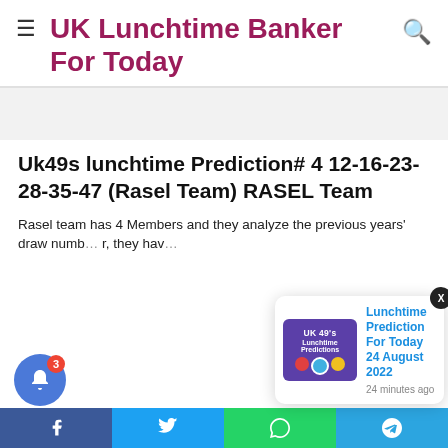UK Lunchtime Banker For Today
Uk49s lunchtime Prediction# 4 12-16-23-28-35-47 (Rasel Team) RASEL Team
Rasel team has 4 Members and they analyze the previous years' draw numbers, they have...
[Figure (screenshot): Notification popup showing 'Lunchtime Prediction For Today 24 August 2022' with UK 49's Lunchtime Predictions thumbnail image, posted 24 minutes ago]
Social share buttons: Facebook, Twitter, WhatsApp, Telegram